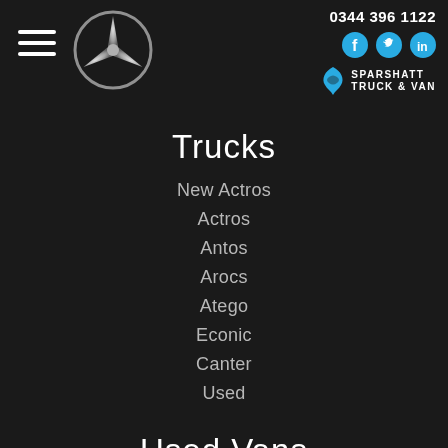0344 396 1122
[Figure (logo): Mercedes-Benz star logo, silver on dark background]
[Figure (logo): Sparshatt Truck & Van logo with cyan S icon and white text]
Trucks
New Actros
Actros
Antos
Arocs
Atego
Econic
Canter
Used
Used Vans